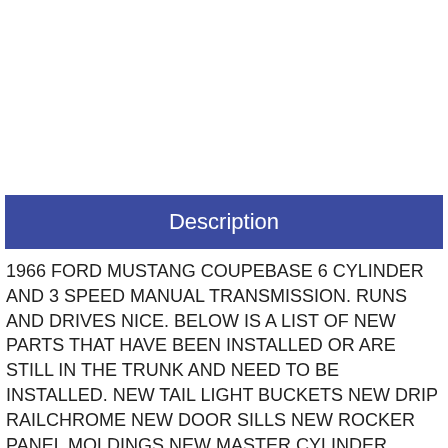Description
1966 FORD MUSTANG COUPEBASE 6 CYLINDER AND 3 SPEED MANUAL TRANSMISSION. RUNS AND DRIVES NICE. BELOW IS A LIST OF NEW PARTS THAT HAVE BEEN INSTALLED OR ARE STILL IN THE TRUNK AND NEED TO BE INSTALLED. NEW TAIL LIGHT BUCKETS NEW DRIP RAILCHROME NEW DOOR SILLS NEW ROCKER PANEL MOLDINGS NEW MASTER CYLINDER (EXTRA) NEW FRONT BUMPER
More...